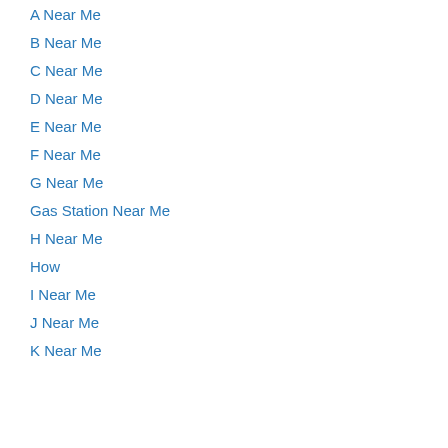A Near Me
B Near Me
C Near Me
D Near Me
E Near Me
F Near Me
G Near Me
Gas Station Near Me
H Near Me
How
I Near Me
J Near Me
K Near Me